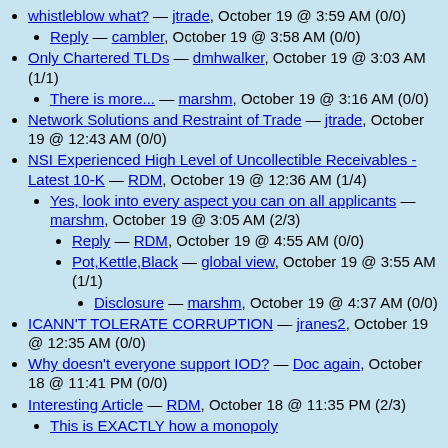whistleblow what? — jtrade, October 19 @ 3:59 AM (0/0)
Reply — cambler, October 19 @ 3:58 AM (0/0)
Only Chartered TLDs — dmhwalker, October 19 @ 3:03 AM (1/1)
There is more... — marshm, October 19 @ 3:16 AM (0/0)
Network Solutions and Restraint of Trade — jtrade, October 19 @ 12:43 AM (0/0)
NSI Experienced High Level of Uncollectible Receivables - Latest 10-K — RDM, October 19 @ 12:36 AM (1/4)
Yes, look into every aspect you can on all applicants — marshm, October 19 @ 3:05 AM (2/3)
Reply — RDM, October 19 @ 4:55 AM (0/0)
Pot,Kettle,Black — global view, October 19 @ 3:55 AM (1/1)
Disclosure — marshm, October 19 @ 4:37 AM (0/0)
ICANN'T TOLERATE CORRUPTION — jranes2, October 19 @ 12:35 AM (0/0)
Why doesn't everyone support IOD? — Doc again, October 18 @ 11:41 PM (0/0)
Interesting Article — RDM, October 18 @ 11:35 PM (2/3)
This is EXACTLY how a monopoly...